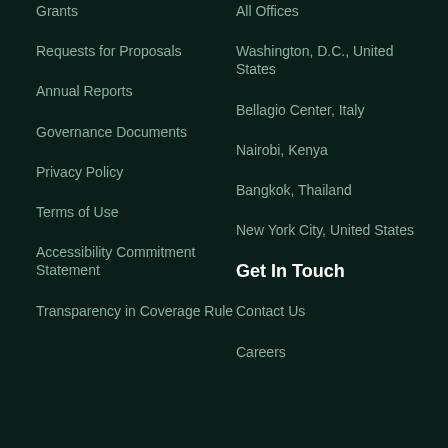Grants
Requests for Proposals
Annual Reports
Governance Documents
Privacy Policy
Terms of Use
Accessibility Commitment Statement
Transparency in Coverage Rule
All Offices
Washington, D.C., United States
Bellagio Center, Italy
Nairobi, Kenya
Bangkok, Thailand
New York City, United States
Get In Touch
Contact Us
Careers